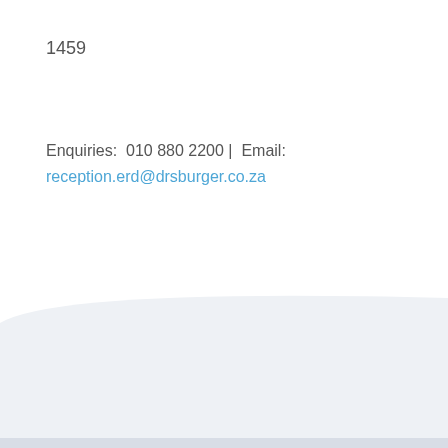1459
Enquiries:  010 880 2200 |  Email:
reception.erd@drsburger.co.za